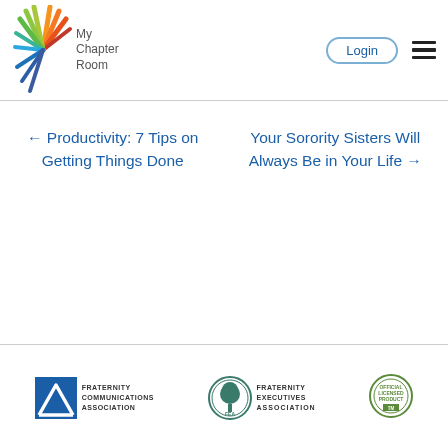[Figure (logo): My Chapter Room logo with colorful sunburst and text]
Login
← Productivity: 7 Tips on Getting Things Done
Your Sorority Sisters Will Always Be in Your Life →
[Figure (logo): Fraternity Communications Association logo]
[Figure (logo): Fraternity Executives Association logo]
[Figure (logo): Official Licensed Product badge]